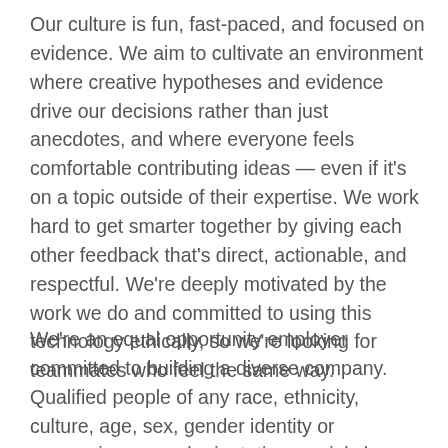Our culture is fun, fast-paced, and focused on evidence. We aim to cultivate an environment where creative hypotheses and evidence drive our decisions rather than just anecdotes, and where everyone feels comfortable contributing ideas — even if it's on a topic outside of their expertise. We work hard to get smarter together by giving each other feedback that's direct, actionable, and respectful. We're deeply motivated by the work we do and committed to using this technology ethically, so we're looking for teammates who feel the same way.
We're an equal opportunity employer committed to building a diverse company. Qualified people of any race, ethnicity, culture, age, sex, gender identity or expression, sexual orientation, social class, marital status, religion, veteran status, or